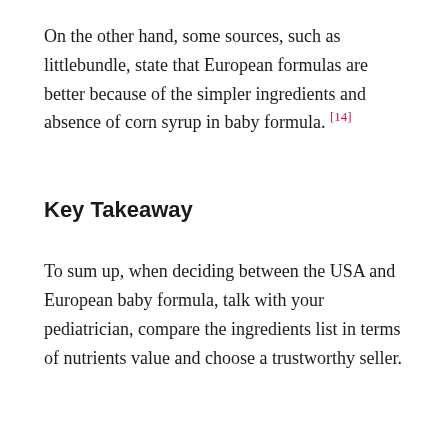On the other hand, some sources, such as littlebundle, state that European formulas are better because of the simpler ingredients and absence of corn syrup in baby formula. [14]
Key Takeaway
To sum up, when deciding between the USA and European baby formula, talk with your pediatrician, compare the ingredients list in terms of nutrients value and choose a trustworthy seller.